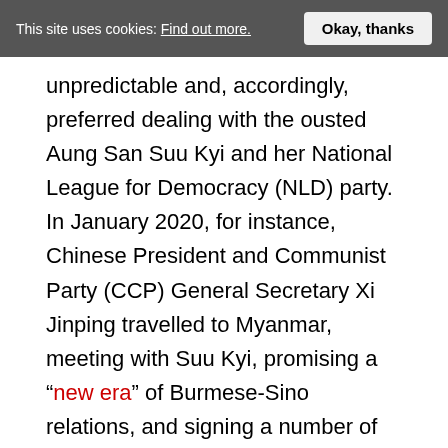This site uses cookies: Find out more.   Okay, thanks
unpredictable and, accordingly, preferred dealing with the ousted Aung San Suu Kyi and her National League for Democracy (NLD) party. In January 2020, for instance, Chinese President and Communist Party (CCP) General Secretary Xi Jinping travelled to Myanmar, meeting with Suu Kyi, promising a “new era” of Burmese-Sino relations, and signing a number of agreements, including for railroad and port projects to be financed by China’s multi-billion dollar Belt and Road Initiative global development scheme.